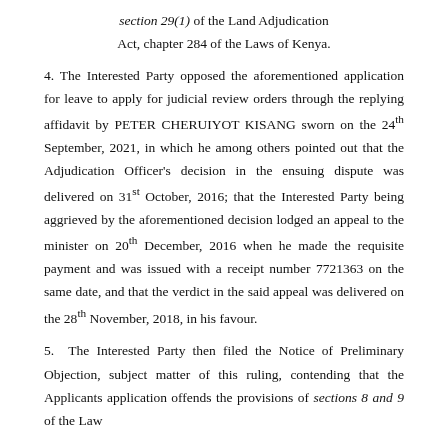section 29(1) of the Land Adjudication Act, chapter 284 of the Laws of Kenya.
4. The Interested Party opposed the aforementioned application for leave to apply for judicial review orders through the replying affidavit by PETER CHERUIYOT KISANG sworn on the 24th September, 2021, in which he among others pointed out that the Adjudication Officer's decision in the ensuing dispute was delivered on 31st October, 2016; that the Interested Party being aggrieved by the aforementioned decision lodged an appeal to the minister on 20th December, 2016 when he made the requisite payment and was issued with a receipt number 7721363 on the same date, and that the verdict in the said appeal was delivered on the 28th November, 2018, in his favour.
5. The Interested Party then filed the Notice of Preliminary Objection, subject matter of this ruling, contending that the Applicants application offends the provisions of sections 8 and 9 of the Law